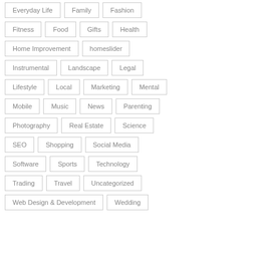Everyday Life
Family
Fashion
Fitness
Food
Gifts
Health
Home Improvement
homeslider
Instrumental
Landscape
Legal
Lifestyle
Local
Marketing
Mental
Mobile
Music
News
Parenting
Photography
Real Estate
Science
SEO
Shopping
Social Media
Software
Sports
Technology
Trading
Travel
Uncategorized
Web Design & Development
Wedding